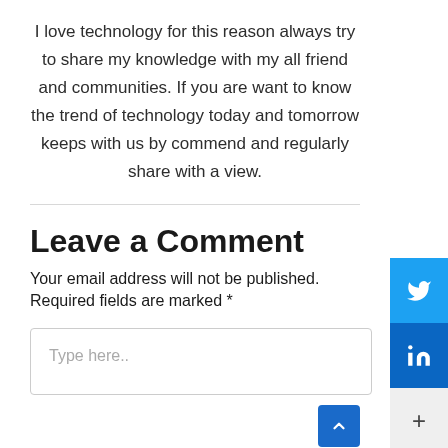I love technology for this reason always try to share my knowledge with my all friend and communities. If you are want to know the trend of technology today and tomorrow keeps with us by commend and regularly share with a view.
[Figure (other): Social media sharing buttons: Twitter (blue bird icon), LinkedIn (blue 'in' icon), and a plus (+) button on grey background, displayed as a vertical sidebar on the right side of the page.]
Leave a Comment
Your email address will not be published.
Required fields are marked *
[Figure (screenshot): A comment text input box with placeholder text 'Type here..' and a blue scroll-to-top arrow button in the bottom right corner.]